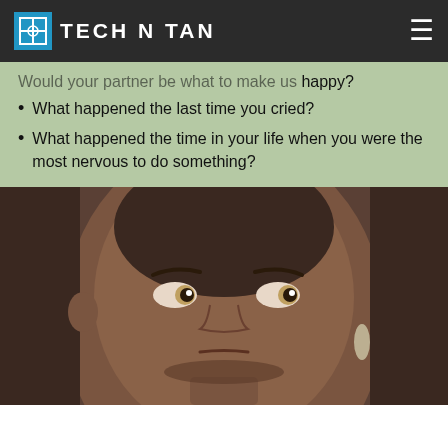TECH N TAN
Would your partner be what to make us happy?
What happened the last time you cried?
What happened the time in your life when you were the most nervous to do something?
[Figure (photo): Close-up photo of a woman with a skeptical sideways eye-roll expression, wearing earrings, with her hair pulled back.]